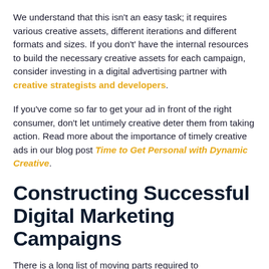We understand that this isn't an easy task; it requires various creative assets, different iterations and different formats and sizes. If you don't' have the internal resources to build the necessary creative assets for each campaign, consider investing in a digital advertising partner with creative strategists and developers.
If you've come so far to get your ad in front of the right consumer, don't let untimely creative deter them from taking action. Read more about the importance of timely creative ads in our blog post Time to Get Personal with Dynamic Creative.
Constructing Successful Digital Marketing Campaigns
There is a long list of moving parts required to